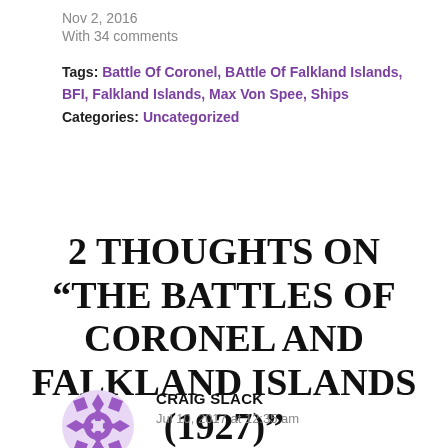Nov 2, 2016
With 34 comments
Tags: Battle Of Coronel, BAttle Of Falkland Islands, BFI, Falkland Islands, Max Von Spee, Ships
Categories: Uncategorized
2 THOUGHTS ON “THE BATTLES OF CORONEL AND FALKLAND ISLANDS (1927)”
CRAIG SLACK
Jul 10, 2017 at 12:35 am